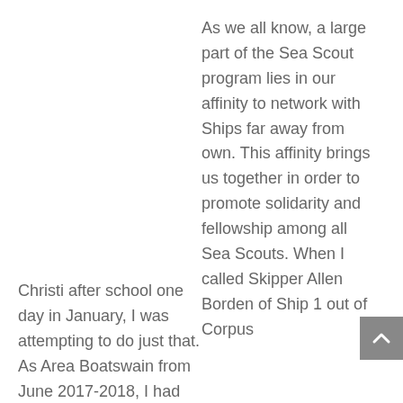As we all know, a large part of the Sea Scout program lies in our affinity to network with Ships far away from own. This affinity brings us together in order to promote solidarity and fellowship among all Sea Scouts. When I called Skipper Allen Borden of Ship 1 out of Corpus
Christi after school one day in January, I was attempting to do just that. As Area Boatswain from June 2017-2018, I had made contact with